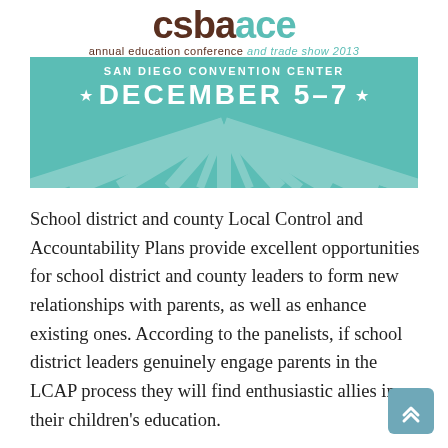[Figure (illustration): CSBA ACE Annual Education Conference and Trade Show 2013 banner. San Diego Convention Center, December 5-7. Teal and white design with radiating rays pattern.]
School district and county Local Control and Accountability Plans provide excellent opportunities for school district and county leaders to form new relationships with parents, as well as enhance existing ones. According to the panelists, if school district leaders genuinely engage parents in the LCAP process they will find enthusiastic allies in their children's education.